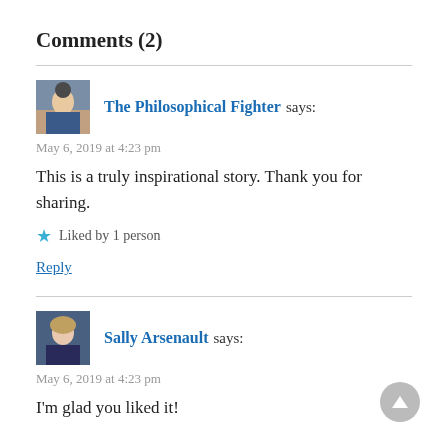Comments (2)
The Philosophical Fighter says:
May 6, 2019 at 4:23 pm
This is a truly inspirational story. Thank you for sharing.
Liked by 1 person
Reply
Sally Arsenault says:
May 6, 2019 at 4:23 pm
I'm glad you liked it!